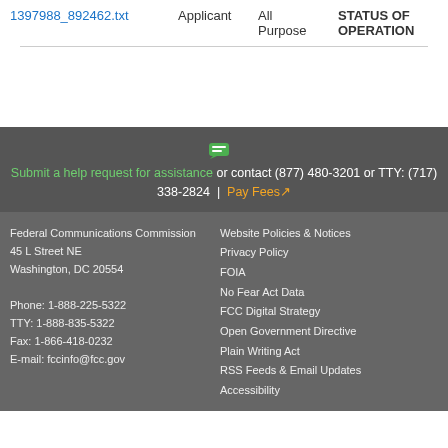|  | Applicant | All Purpose | STATUS OF OPERATION |
| --- | --- | --- | --- |
| 1397988_892462.txt | Applicant | All Purpose | STATUS OF OPERATION |
Submit a help request for assistance or contact (877) 480-3201 or TTY: (717) 338-2824 | Pay Fees
Federal Communications Commission
45 L Street NE
Washington, DC 20554

Phone: 1-888-225-5322
TTY: 1-888-835-5322
Fax: 1-866-418-0232
E-mail: fccinfo@fcc.gov

Website Policies & Notices
Privacy Policy
FOIA
No Fear Act Data
FCC Digital Strategy
Open Government Directive
Plain Writing Act
RSS Feeds & Email Updates
Accessibility